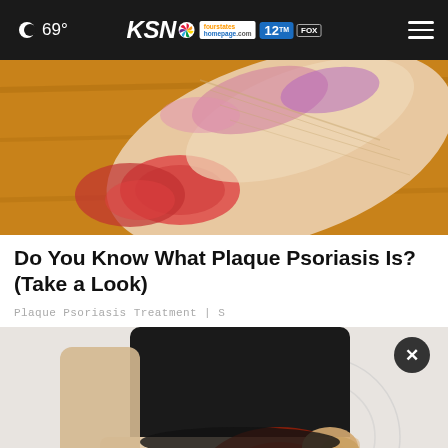69° KSN fourstates homepage .com 12
[Figure (photo): Close-up of a foot/heel with red, inflamed psoriasis patches on an orange/wood background]
Do You Know What Plaque Psoriasis Is? (Take a Look)
Plaque Psoriasis Treatment | S
[Figure (photo): Person wearing black shorts holding their hip/thigh area with a red inflammation highlight overlay]
ATD Government Training Program OPEN